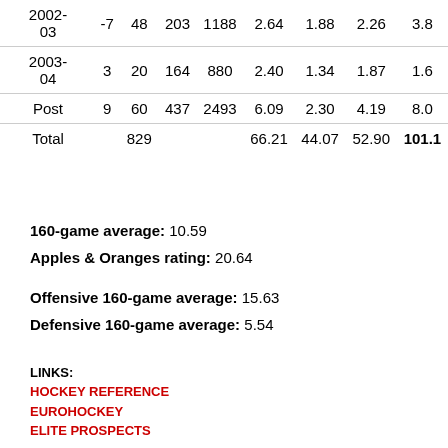| Season |  |  |  |  |  |  |  |  |
| --- | --- | --- | --- | --- | --- | --- | --- | --- |
| 2002-03 | -7 | 48 | 203 | 1188 | 2.64 | 1.88 | 2.26 | 3.8 |
| 2003-04 | 3 | 20 | 164 | 880 | 2.40 | 1.34 | 1.87 | 1.6 |
| Post | 9 | 60 | 437 | 2493 | 6.09 | 2.30 | 4.19 | 8.0 |
| Total |  | 829 |  |  | 66.21 | 44.07 | 52.90 | 101.1 |
160-game average: 10.59
Apples & Oranges rating: 20.64
Offensive 160-game average: 15.63
Defensive 160-game average: 5.54
LINKS:
HOCKEY REFERENCE
EUROHOCKEY
ELITE PROSPECTS